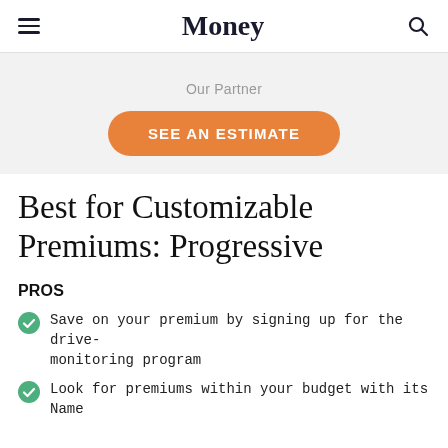Money
Our Partner
SEE AN ESTIMATE
Best for Customizable Premiums: Progressive
PROS
Save on your premium by signing up for the drive-monitoring program
Look for premiums within your budget with its Name